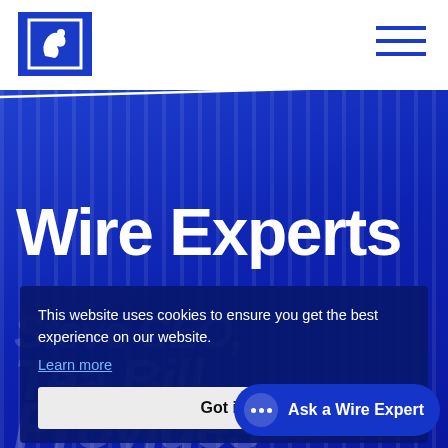[Figure (logo): Pelican Financial logo: white bird silhouette on blue square background, top-left header]
[Figure (other): Hamburger menu icon: three horizontal dark blue lines, top-right header]
Wire Experts
[Figure (other): Background ghost text showing partially visible italic text: 'Steve CEO,' 'Tea Bill' 'Provides' in low-opacity white on blue hero background]
This website uses cookies to ensure you get the best experience on our website.
Learn more
Got it!
Ask a Wire Expert